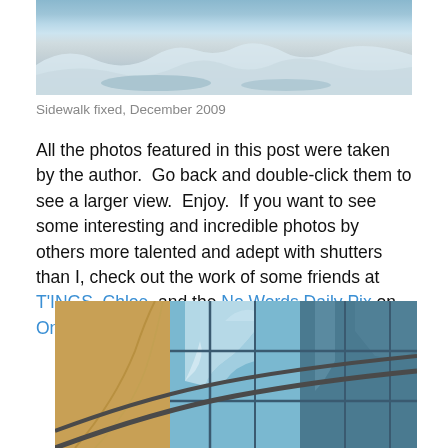[Figure (photo): Partial view of a snowy sidewalk scene, cropped at top, blue-grey tones]
Sidewalk fixed, December 2009
All the photos featured in this post were taken by the author.  Go back and double-click them to see a larger view.  Enjoy.  If you want to see some interesting and incredible photos by others more talented and adept with shutters than I, check out the work of some friends at T'INGS, Chloe, and the No Words Daily Pix on Only the Blog Knows Brooklyn.
[Figure (photo): Glass building facade with reflections of clouds and blue sky in the window panes, architectural photography]